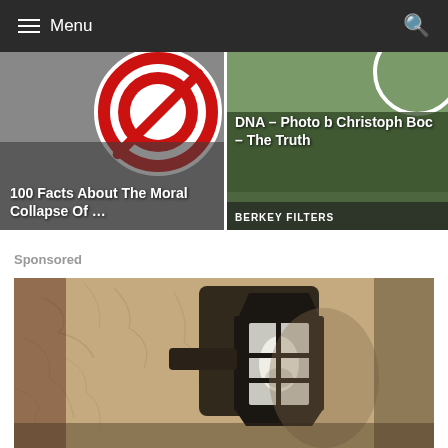Menu
[Figure (screenshot): Thumbnail image: 100 Facts About The Moral Collapse Of ... with red circle/no sign graphic]
[Figure (screenshot): Thumbnail image: DNA - Photo b Christoph Boc - The Truth, with BERKEY FILTERS label]
Sponsored
[Figure (photo): Sponsored image of an outdoor wall-mounted black lantern light fixture with a white bulb, mounted on a textured stucco wall]